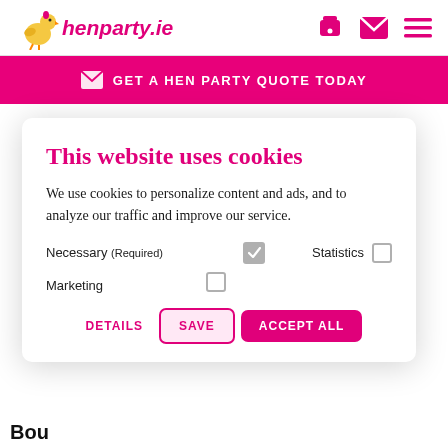henparty.ie
GET A HEN PARTY QUOTE TODAY
This website uses cookies
We use cookies to personalize content and ads, and to analyze our traffic and improve our service.
Necessary (Required)  [checked]   Statistics [unchecked]   Marketing [unchecked]
DETAILS   SAVE   ACCEPT ALL
Bou